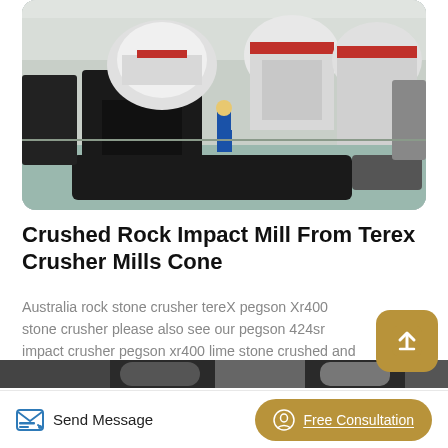[Figure (photo): Industrial factory floor with large white and black cone crusher/mill equipment and a worker in blue coveralls and yellow hard hat]
Crushed Rock Impact Mill From Terex Crusher Mills Cone
Australia rock stone crusher tereX pegson Xr400 stone crusher please also see our pegson 424sr impact crusher pegson xr400 lime stone crushed and stone terex rock crusher-crusher and mill. terex pegson cone.
[Figure (photo): Partial view of machinery/equipment at bottom of page]
Send Message
Free Consultation